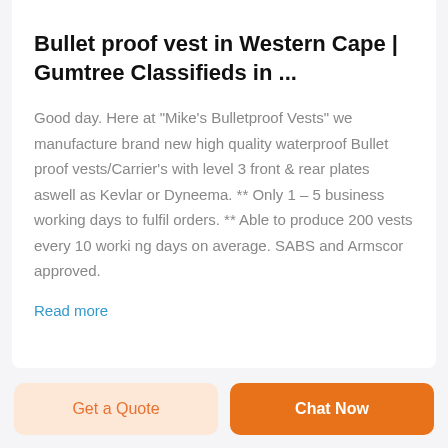Bullet proof vest in Western Cape | Gumtree Classifieds in ...
Good day. Here at "Mike's Bulletproof Vests" we manufacture brand new high quality waterproof Bullet proof vests/Carrier's with level 3 front & rear plates aswell as Kevlar or Dyneema. ** Only 1 – 5 business working days to fulfil orders. ** Able to produce 200 vests every 10 worki ng days on average. SABS and Armscor approved.
Read more